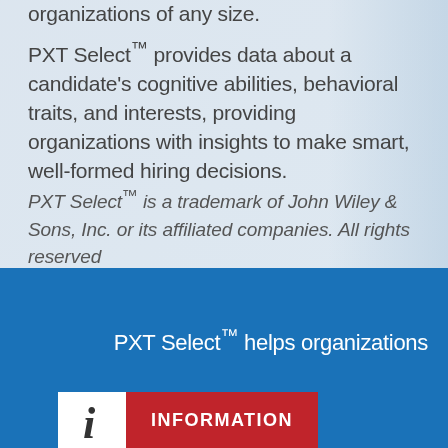organizations of any size.
PXT Select™ provides data about a candidate's cognitive abilities, behavioral traits, and interests, providing organizations with insights to make smart, well-formed hiring decisions.
PXT Select™ is a trademark of John Wiley & Sons, Inc. or its affiliated companies. All rights reserved
PXT Select™ helps organizations
[Figure (infographic): Information icon: white box with italic 'i' symbol next to a red box labeled INFORMATION in bold white text]